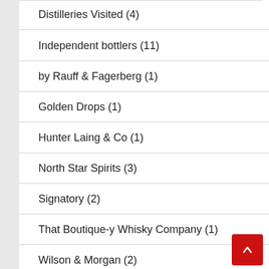Distilleries Visited (4)
Independent bottlers (11)
by Rauff & Fagerberg (1)
Golden Drops (1)
Hunter Laing & Co (1)
North Star Spirits (3)
Signatory (2)
That Boutique-y Whisky Company (1)
Wilson & Morgan (2)